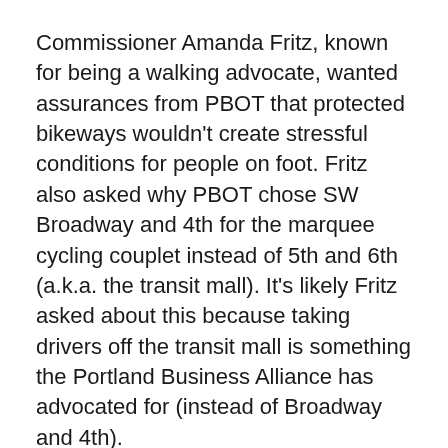Commissioner Amanda Fritz, known for being a walking advocate, wanted assurances from PBOT that protected bikeways wouldn't create stressful conditions for people on foot. Fritz also asked why PBOT chose SW Broadway and 4th for the marquee cycling couplet instead of 5th and 6th (a.k.a. the transit mall). It's likely Fritz asked about this because taking drivers off the transit mall is something the Portland Business Alliance has advocated for (instead of Broadway and 4th).
PBOT Project Manager Gabe Graff was ready for the question.
Advertisement